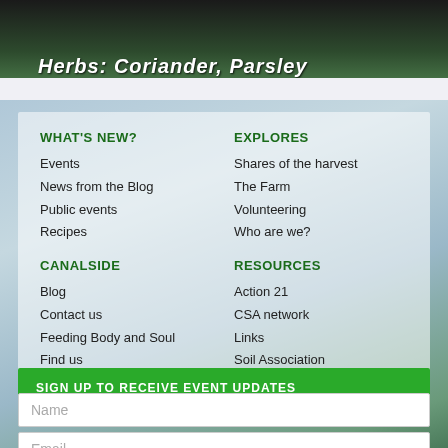[Figure (photo): Dark background image with text overlay showing herbs label]
HERBS: Coriander, Parsley
WHAT'S NEW?
Events
News from the Blog
Public events
Recipes
CANALSIDE
Blog
Contact us
Feeding Body and Soul
Find us
EXPLORES
Shares of the harvest
The Farm
Volunteering
Who are we?
RESOURCES
Action 21
CSA network
Links
Soil Association
SIGN UP TO RECEIVE EVENT UPDATES
Name
Email